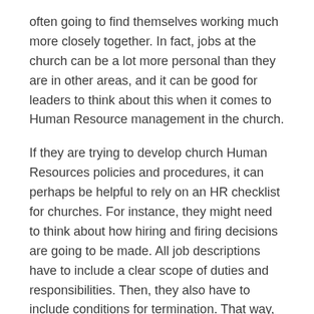often going to find themselves working much more closely together. In fact, jobs at the church can be a lot more personal than they are in other areas, and it can be good for leaders to think about this when it comes to Human Resource management in the church.
If they are trying to develop church Human Resources policies and procedures, it can perhaps be helpful to rely on an HR checklist for churches. For instance, they might need to think about how hiring and firing decisions are going to be made. All job descriptions have to include a clear scope of duties and responsibilities. Then, they also have to include conditions for termination. That way, everyone who is hired will be able to know exactly what his or her rights are.
Next, they may want to make sure that people know where to go, if they ever need help with Human Resources in churches, because even though they may not anticipate any complaints arising, they also may not know when something